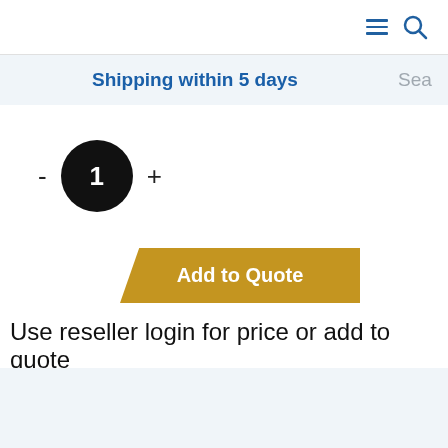[Navigation bar with menu and search icons]
Shipping within 5 days
Sea
[Figure (infographic): Quantity selector with minus button, black circle displaying '1', and plus button]
[Figure (infographic): Add to Quote button in gold/yellow color with angled left edge]
Use reseller login for price or add to quote